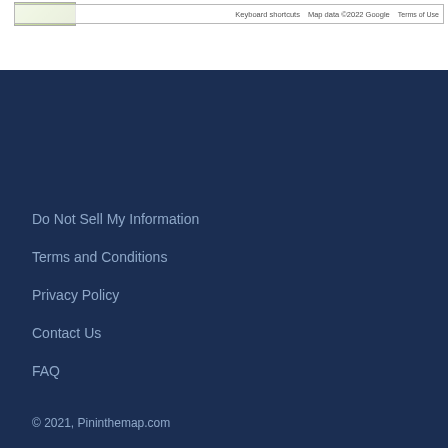[Figure (screenshot): Top portion showing a Google Maps embed footer bar with text 'Keyboard shortcuts', 'Map data ©2022 Google', 'Terms of Use' and a small map image thumbnail on the left.]
Do Not Sell My Information
Terms and Conditions
Privacy Policy
Contact Us
FAQ
© 2021, Pininthemap.com